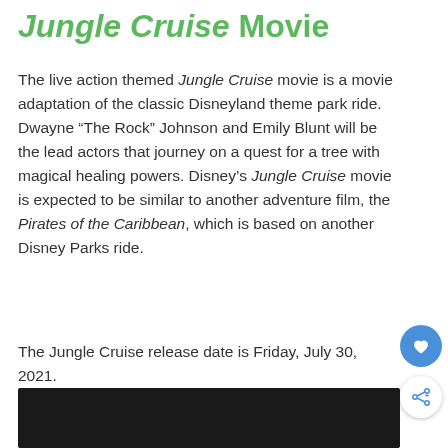Jungle Cruise Movie
The live action themed Jungle Cruise movie is a movie adaptation of the classic Disneyland theme park ride. Dwayne “The Rock” Johnson and Emily Blunt will be the lead actors that journey on a quest for a tree with magical healing powers. Disney’s Jungle Cruise movie is expected to be similar to another adventure film, the Pirates of the Caribbean, which is based on another Disney Parks ride.
The Jungle Cruise release date is Friday, July 30, 2021.
[Figure (photo): Dark/black video player embed area]